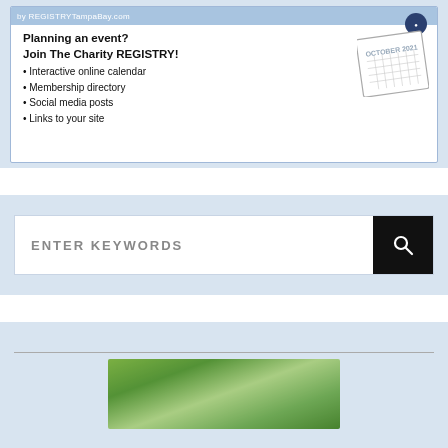[Figure (illustration): Charity Registry advertisement box: blue background with text 'Planning an event? Join The Charity REGISTRY!' followed by bullet points: Interactive online calendar, Membership directory, Social media posts, Links to your site. Small calendar graphic showing October 2021 in top right corner. 'GIVE.' text with circular icon at top right.]
[Figure (screenshot): Search bar widget on light blue background. White input box with placeholder text 'ENTER KEYWORDS' in gray uppercase letters. Black search button on the right with a magnifying glass icon.]
ADVERTISEMENT
[Figure (photo): Partial photo of outdoor scene with green foliage/trees visible at the bottom of the page.]